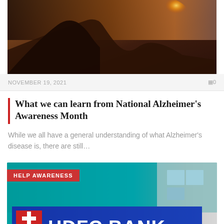[Figure (photo): Close-up profile silhouette of an elderly person in warm jacket with golden sunset glow in background]
NOVEMBER 19, 2021
0
What we can learn from National Alzheimer's Awareness Month
While we all have a general understanding of what Alzheimer's disease is, there are still…
[Figure (photo): HDFC Bank building exterior with blue signage and teal walls, with HELP AWARENESS category badge overlay]